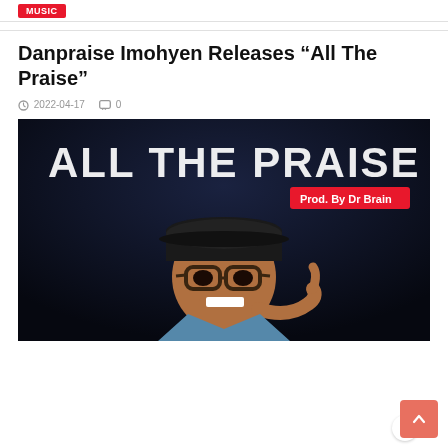Danpraise Imohyen Releases “All The Praise”
2022-04-17   0
[Figure (photo): Music cover art showing a smiling man wearing glasses and a black cap, pointing at his teeth against a dark background. Text reads ALL THE PRAISE and Prod. By Dr Brain in a red badge.]